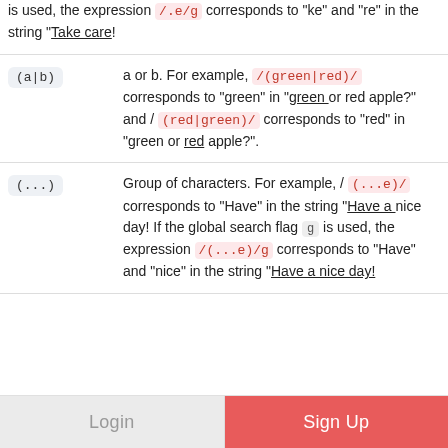is used, the expression /.e/g corresponds to "ke" and "re" in the string "Take care!
(a|b) — a or b. For example, /(green|red)/ corresponds to "green" in "green or red apple?" and /(red|green)/ corresponds to "red" in "green or red apple?".
(...) — Group of characters. For example, /(...e)/ corresponds to "Have" in the string "Have a nice day! If the global search flag g is used, the expression /(...e)/g corresponds to "Have" and "nice" in the string "Have a nice day!
Login
Sign Up